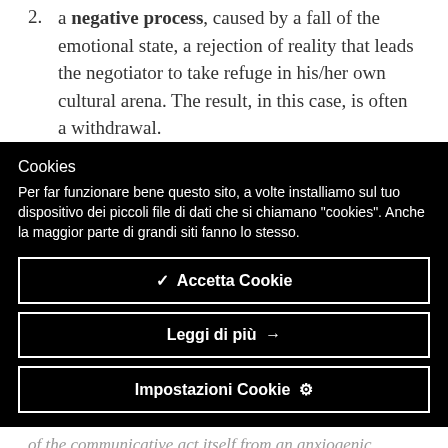2. a negative process, caused by a fall of the emotional state, a rejection of reality that leads the negotiator to take refuge in his/her own cultural arena. The result, in this case, is often a withdrawal.
Cookies
Per far funzionare bene questo sito, a volte installiamo sul tuo dispositivo dei piccoli file di dati che si chiamano "cookies". Anche la maggior parte di grandi siti fanno lo stesso.
✔  Accetta Cookie
Leggi di più  →
Impostazioni Cookie  ✦
of the communicative act itself from an anxiogenic